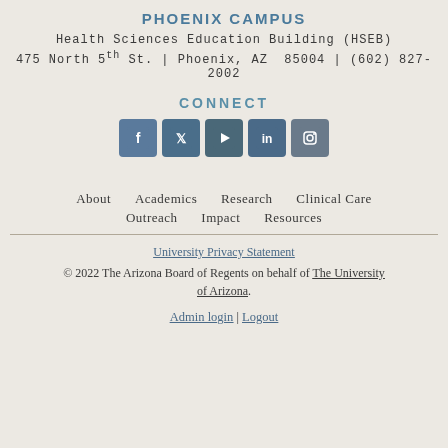PHOENIX CAMPUS
Health Sciences Education Building (HSEB)
475 North 5th St. | Phoenix, AZ  85004 | (602) 827-2002
CONNECT
[Figure (other): Social media icons: Facebook, Twitter, YouTube, LinkedIn, Instagram]
About
Academics
Research
Clinical Care
Outreach
Impact
Resources
University Privacy Statement
© 2022 The Arizona Board of Regents on behalf of The University of Arizona.
Admin login | Logout